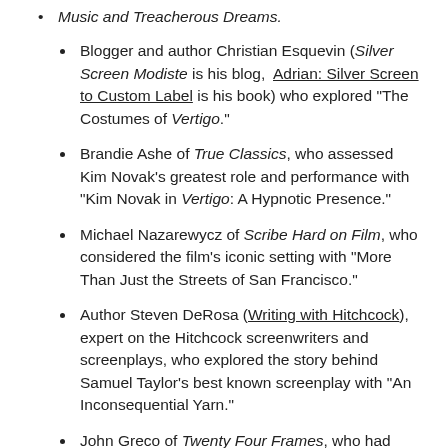Music and Treacherous Dreams.
Blogger and author Christian Esquevin (Silver Screen Modiste is his blog, Adrian: Silver Screen to Custom Label is his book) who explored "The Costumes of Vertigo."
Brandie Ashe of True Classics, who assessed Kim Novak's greatest role and performance with "Kim Novak in Vertigo: A Hypnotic Presence."
Michael Nazarewycz of Scribe Hard on Film, who considered the film's iconic setting with "More Than Just the Streets of San Francisco."
Author Steven DeRosa (Writing with Hitchcock), expert on the Hitchcock screenwriters and screenplays, who explored the story behind Samuel Taylor's best known screenplay with "An Inconsequential Yarn."
John Greco of Twenty Four Frames, who had recently interviewed award-winning biographer Patrick McGilligan about his new Nicholas Ray